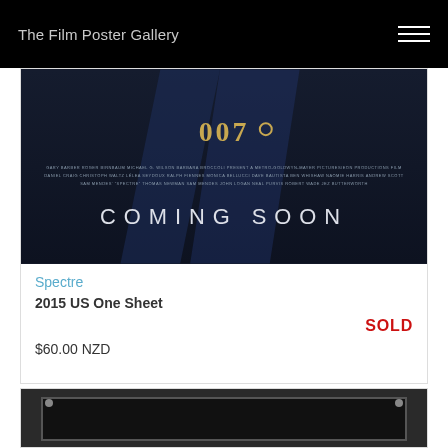The Film Poster Gallery
[Figure (photo): James Bond 007 Spectre movie poster showing COMING SOON text on dark blue background with 007 logo]
Spectre
2015 US One Sheet
SOLD
$60.00 NZD
[Figure (photo): Partial view of another film poster in black frame on hanging rod, dark content]